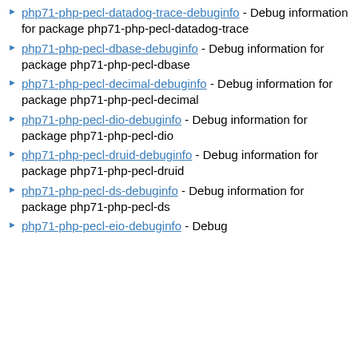php71-php-pecl-datadog-trace-debuginfo - Debug information for package php71-php-pecl-datadog-trace
php71-php-pecl-dbase-debuginfo - Debug information for package php71-php-pecl-dbase
php71-php-pecl-decimal-debuginfo - Debug information for package php71-php-pecl-decimal
php71-php-pecl-dio-debuginfo - Debug information for package php71-php-pecl-dio
php71-php-pecl-druid-debuginfo - Debug information for package php71-php-pecl-druid
php71-php-pecl-ds-debuginfo - Debug information for package php71-php-pecl-ds
php71-php-pecl-eio-debuginfo - Debug